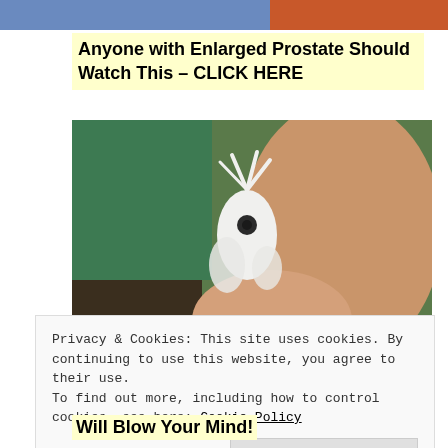[Figure (photo): Partial top of a web page banner image — blue and orange/red colours visible at the top edge]
Anyone with Enlarged Prostate Should Watch This – CLICK HERE
[Figure (photo): A hand holding a small white ghost orchid or similar white flower/sea creature against a green and brown background outdoors]
Privacy & Cookies: This site uses cookies. By continuing to use this website, you agree to their use.
To find out more, including how to control cookies, see here: Cookie Policy
Close and accept
Will Blow Your Mind!